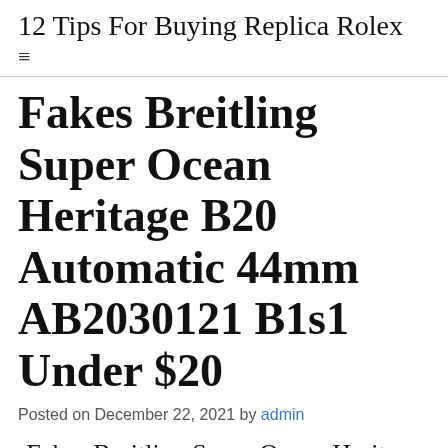12 Tips For Buying Replica Rolex
Fakes Breitling Super Ocean Heritage B20 Automatic 44mm AB2030121 B1s1 Under $20
Posted on December 22, 2021 by admin
Fakes Breitling Super Ocean Heritage B20 Automatic 44mm